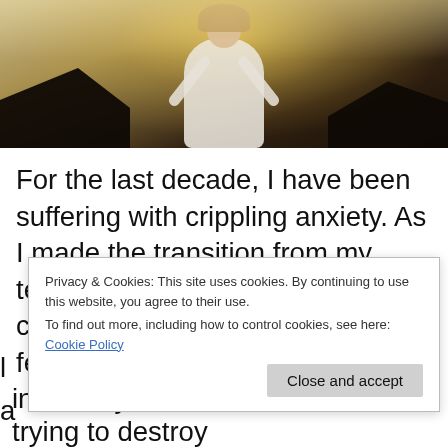[Figure (photo): A person with arms raised upward against a bright backlit sky, wearing a white long-sleeve top, with hair blowing — an empowering/freedom pose]
For the last decade, I have been suffering with crippling anxiety. As I made the transition from my teens to my twenties, my anxiety continued to grow and I started to feel like I was no longer in control. I was always anxious and afraid, for no apparent reason. I felt like there was a monster inside my head, one that was trying to destroy
Privacy & Cookies: This site uses cookies. By continuing to use this website, you agree to their use.
To find out more, including how to control cookies, see here: Cookie Policy
Close and accept